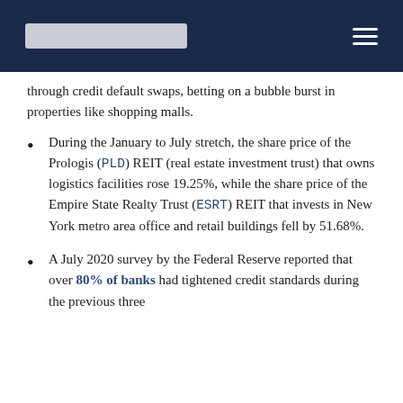through credit default swaps, betting on a bubble burst in properties like shopping malls.
During the January to July stretch, the share price of the Prologis (PLD) REIT (real estate investment trust) that owns logistics facilities rose 19.25%, while the share price of the Empire State Realty Trust (ESRT) REIT that invests in New York metro area office and retail buildings fell by 51.68%.
A July 2020 survey by the Federal Reserve reported that over 80% of banks had tightened credit standards during the previous three